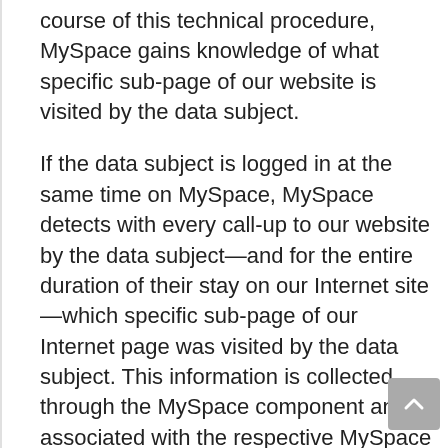course of this technical procedure, MySpace gains knowledge of what specific sub-page of our website is visited by the data subject.
If the data subject is logged in at the same time on MySpace, MySpace detects with every call-up to our website by the data subject—and for the entire duration of their stay on our Internet site—which specific sub-page of our Internet page was visited by the data subject. This information is collected through the MySpace component and associated with the respective MySpace account of the data subject. If the data subject clicks on